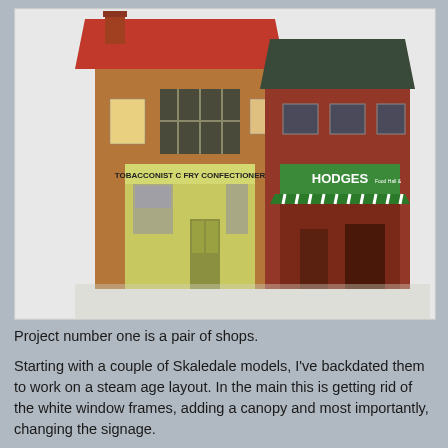[Figure (photo): A model railway diorama showing a pair of shops: a tobacconist labelled 'C FRY' with a yellow-green facade, and a shop labelled 'HODGES' with a green striped canopy and red brick facade. Both are detailed scale models of British high street shops.]
Project number one is a pair of shops.
Starting with a couple of Skaledale models, I've backdated them to work on a steam age layout. In the main this is getting rid of the white window frames, adding a canopy and most importantly, changing the signage.